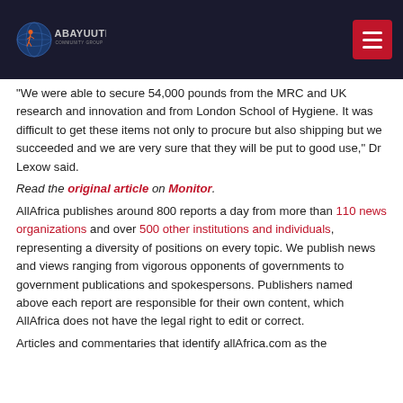Abayuuti Community Group
"We were able to secure 54,000 pounds from the MRC and UK research and innovation and from London School of Hygiene. It was difficult to get these items not only to procure but also shipping but we succeeded and we are very sure that they will be put to good use," Dr Lexow said.
Read the original article on Monitor.
AllAfrica publishes around 800 reports a day from more than 110 news organizations and over 500 other institutions and individuals, representing a diversity of positions on every topic. We publish news and views ranging from vigorous opponents of governments to government publications and spokespersons. Publishers named above each report are responsible for their own content, which AllAfrica does not have the legal right to edit or correct.
Articles and commentaries that identify allAfrica.com as the